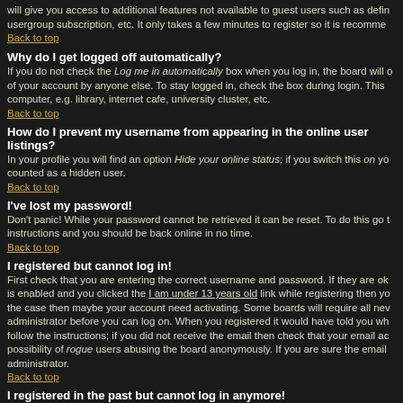will give you access to additional features not available to guest users such as defining a usergroup subscription, etc. It only takes a few minutes to register so it is recommended.
Back to top
Why do I get logged off automatically?
If you do not check the Log me in automatically box when you log in, the board will only keep you logged in for a preset time. This prevents misuse of your account by anyone else. To stay logged in, check the box during login. This is not recommended if you access the board from a shared computer, e.g. library, internet cafe, university cluster, etc.
Back to top
How do I prevent my username from appearing in the online user listings?
In your profile you will find an option Hide your online status; if you switch this on you will only appear to the administrators. You will be counted as a hidden user.
Back to top
I've lost my password!
Don't panic! While your password cannot be retrieved it can be reset. To do this go to the login page and click I've forgotten my password. Follow the instructions and you should be back online in no time.
Back to top
I registered but cannot log in!
First check that you are entering the correct username and password. If they are okay then one of two things may have happened. If COPPA support is enabled and you clicked the I am under 13 years old link while registering then you will have to follow the instructions you received. Some boards will also require new registrations to be activated, either by yourself or by the administrator before you can log on. When you registered it would have told you whether activation was required. If you were sent an email then follow the instructions; if you did not receive the email then check that your email address is valid. One reason activation is used is to reduce the possibility of rogue users abusing the board anonymously. If you are sure the email address you used is valid then try contacting the administrator.
Back to top
I registered in the past but cannot log in anymore!
The most likely reasons for this are: you entered an incorrect username or password or the administrator has deleted your account for some reason. If it is the latter so...